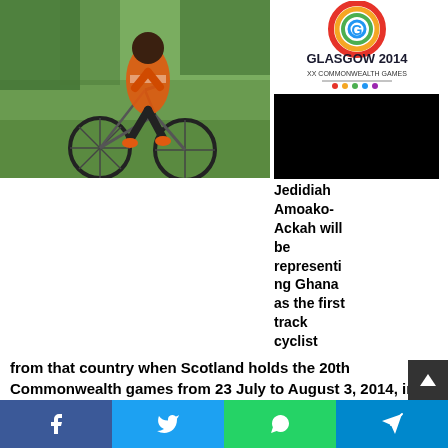[Figure (photo): A cyclist in orange and black kit posing with a bicycle on grass, alongside the Glasgow 2014 XX Commonwealth Games logo and a black rectangle]
Jedidiah Amoako-Ackah will be representing Ghana as the first track cyclist from that country when Scotland holds the 20th Commonwealth games from 23 July to August 3, 2014, in Glascow.
Jedidiah who prefers to be called Jeddie says Gregory Bauge, Chris Hoy and Francisco Pervis are track cyclist that have been a great inspiration to him in his quest to represent Ghana at the Commonwealth games in this rather untraditional